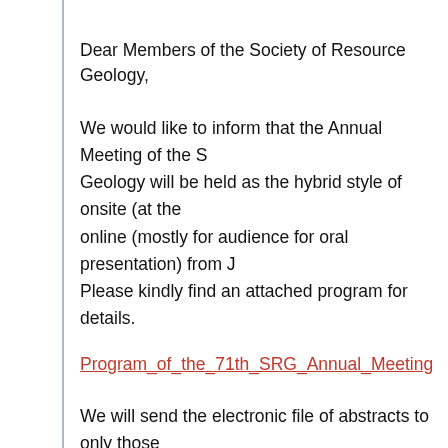Dear Members of the Society of Resource Geology,
We would like to inform that the Annual Meeting of the Society of Resource Geology will be held as the hybrid style of onsite (at the venue) and online (mostly for audience for oral presentation) from J... Please kindly find an attached program for details.
Program_of_the_71th_SRG_Annual_Meeting
We will send the electronic file of abstracts to only those who registered the meeting after June 6th (printed one will not be provided...
Registration fee for the Annual Meeting of SRG is:
・SRG member (3 days): On-site 4,000 JPY / Online 2,0...